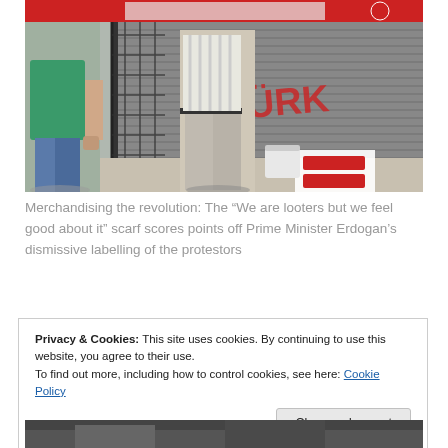[Figure (photo): A street scene showing a person in grey trousers standing near a metal fence/gate, with a red banner visible at the top and merchandise/shoes on the ground. Another person in green shirt visible on the left.]
Merchandising the revolution: The “We are looters but we feel good about it” scarf scores points off Prime Minister Erdogan’s dismissive labelling of the protestors
Privacy & Cookies: This site uses cookies. By continuing to use this website, you agree to their use.
To find out more, including how to control cookies, see here: Cookie Policy
Close and accept
[Figure (photo): Partial view of another street or scene photo at the bottom of the page, mostly cropped.]